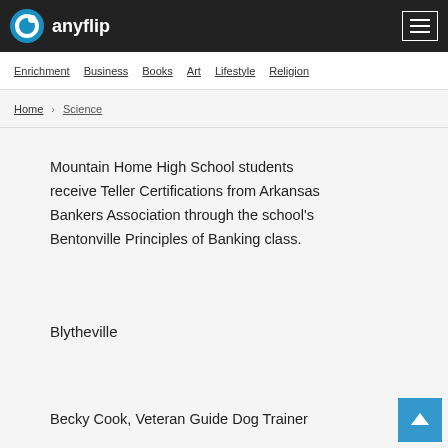anyflip
Enrichment  Business  Books  Art  Lifestyle  Religion
Home > Science
Mountain Home High School students receive Teller Certifications from Arkansas Bankers Association through the school's Bentonville Principles of Banking class.
Blytheville
Becky Cook, Veteran Guide Dog Trainer